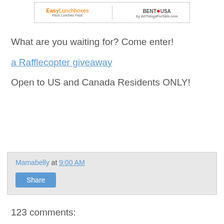[Figure (logo): Banner image showing EasyLunchboxes and BentoUSA logos side by side]
What are you waiting for? Come enter!
a Rafflecopter giveaway
Open to US and Canada Residents ONLY!
Mamabelly at 9:00 AM
Share
123 comments: